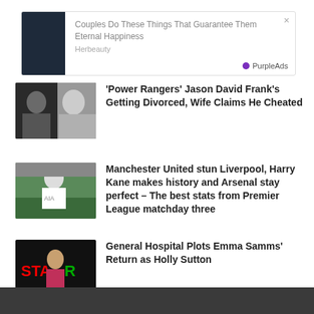[Figure (infographic): Advertisement box with image, headline 'Couples Do These Things That Guarantee Them Eternal Happiness', source 'Herbeauty', and PurpleAds branding]
[Figure (photo): Thumbnail photo of two people, a man and a woman]
'Power Rangers' Jason David Frank's Getting Divorced, Wife Claims He Cheated
[Figure (photo): Thumbnail photo of a soccer player in white AIA jersey]
Manchester United stun Liverpool, Harry Kane makes history and Arsenal stay perfect – The best stats from Premier League matchday three
[Figure (photo): Thumbnail photo of a woman on a dark stage with colorful STAR sign]
General Hospital Plots Emma Samms' Return as Holly Sutton